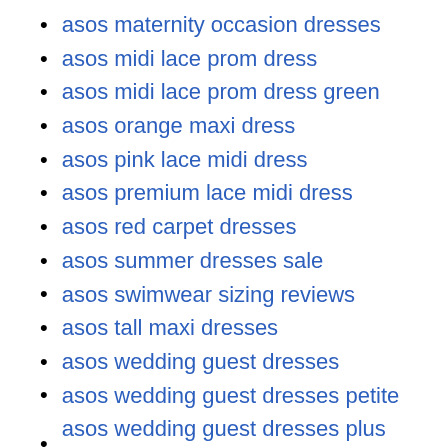asos maternity occasion dresses
asos midi lace prom dress
asos midi lace prom dress green
asos orange maxi dress
asos pink lace midi dress
asos premium lace midi dress
asos red carpet dresses
asos summer dresses sale
asos swimwear sizing reviews
asos tall maxi dresses
asos wedding guest dresses
asos wedding guest dresses petite
asos wedding guest dresses plus size
asos wedding guest dresses uk
asos wedding guest dresses with sleeves